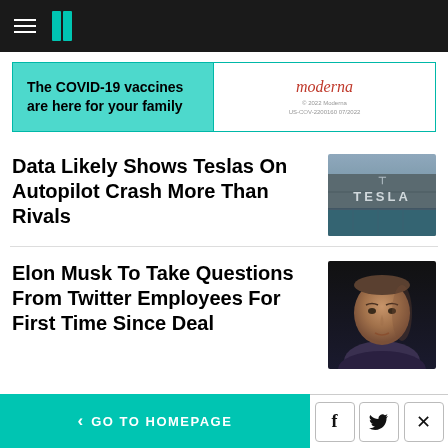HuffPost navigation bar with hamburger menu and logo
[Figure (infographic): Advertisement banner: 'The COVID-19 vaccines are here for your family' with Moderna logo and small print '© 2022 Moderna US-COV-2200160 07/2022']
Data Likely Shows Teslas On Autopilot Crash More Than Rivals
[Figure (photo): Photo of a Tesla building facade with the word TESLA on the exterior wall]
Elon Musk To Take Questions From Twitter Employees For First Time Since Deal
[Figure (photo): Close-up photo of Elon Musk against a dark background]
< GO TO HOMEPAGE | Facebook icon | Twitter icon | X close icon